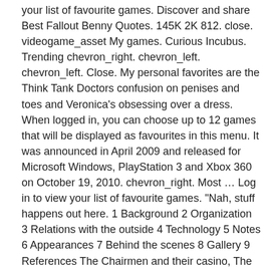your list of favourite games. Discover and share Best Fallout Benny Quotes. 145K 2K 812. close. videogame_asset My games. Curious Incubus. Trending chevron_right. chevron_left. chevron_left. Close. My personal favorites are the Think Tank Doctors confusion on penises and toes and Veronica's obsessing over a dress. When logged in, you can choose up to 12 games that will be displayed as favourites in this menu. It was announced in April 2009 and released for Microsoft Windows, PlayStation 3 and Xbox 360 on October 19, 2010. chevron_right. Most … Log in to view your list of favourite games. "Nah, stuff happens out here. 1 Background 2 Organization 3 Relations with the outside 4 Technology 5 Notes 6 Appearances 7 Behind the scenes 8 Gallery 9 References The Chairmen and their casino, The Tops, embody an ancient "cool" aesthetic of Vegas, plucked from Mr.